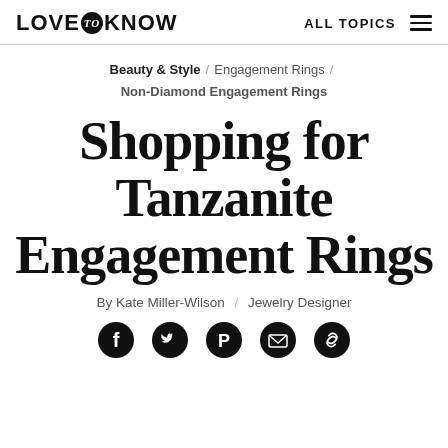LOVE to KNOW   ALL TOPICS
Beauty & Style / Engagement Rings / Non-Diamond Engagement Rings
Shopping for Tanzanite Engagement Rings
By Kate Miller-Wilson / Jewelry Designer
[Figure (infographic): Social share icons: Facebook, Twitter, Pinterest, Email, Link]